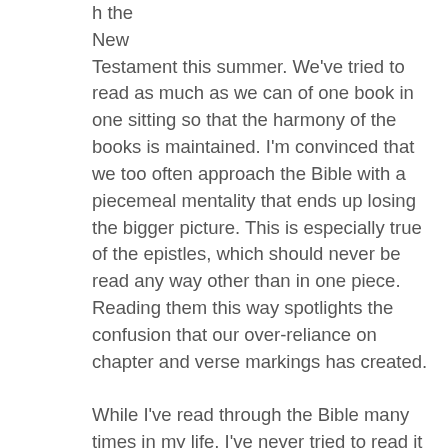h the New Testament this summer. We've tried to read as much as we can of one book in one sitting so that the harmony of the books is maintained. I'm convinced that we too often approach the Bible with a piecemeal mentality that ends up losing the bigger picture. This is especially true of the epistles, which should never be read any way other than in one piece. Reading them this way spotlights the confusion that our over-reliance on chapter and verse markings has created.

While I've read through the Bible many times in my life, I've never tried to read it both out loud and in the biggest chunks I can manage. That another person is listening as I read